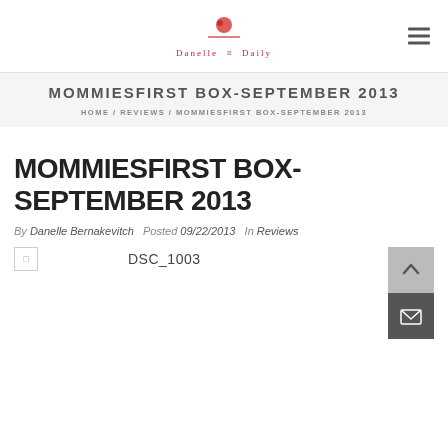Danelle Daily logo and navigation
MOMMIESFIRST BOX-SEPTEMBER 2013
HOME / REVIEWS / MOMMIESFIRST BOX-SEPTEMBER 2013
MOMMIESFIRST BOX-SEPTEMBER 2013
By Danelle Bernakevitch Posted 09/22/2013 In Reviews
[Figure (photo): Broken image placeholder followed by caption text DSC_1003]